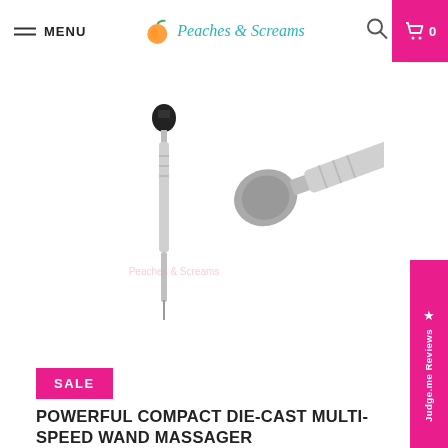MENU | Peaches & Screams | Search | Cart 0
[Figure (photo): Two silver wand massagers shown from different angles - one upright showing full length, one at an angle showing the head]
SALE
POWERFUL COMPACT DIE-CAST MULTI-SPEED WAND MASSAGER
£244.99 £297.48
You Save 18% (£52.49)